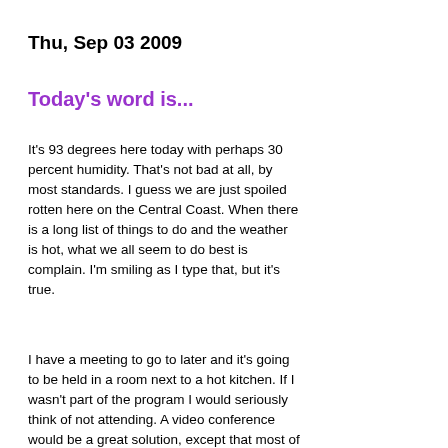Thu, Sep 03 2009
Today's word is...
It's 93 degrees here today with perhaps 30 percent humidity. That's not bad at all, by most standards. I guess we are just spoiled rotten here on the Central Coast. When there is a long list of things to do and the weather is hot, what we all seem to do best is complain. I'm smiling as I type that, but it's true.
I have a meeting to go to later and it's going to be held in a room next to a hot kitchen. If I wasn't part of the program I would seriously think of not attending. A video conference would be a great solution, except that most of these folks would not be technically